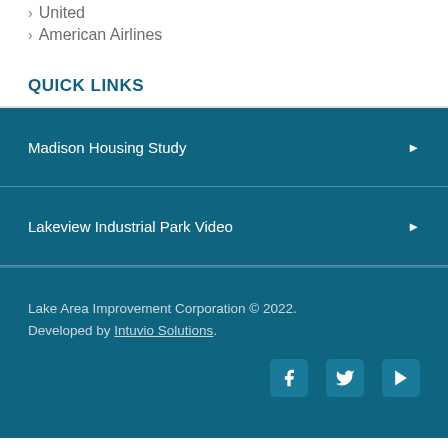> United
> American Airlines
QUICK LINKS
Madison Housing Study
Lakeview Industrial Park Video
Lake Area Improvement Corporation © 2022. Developed by Intuvio Solutions.